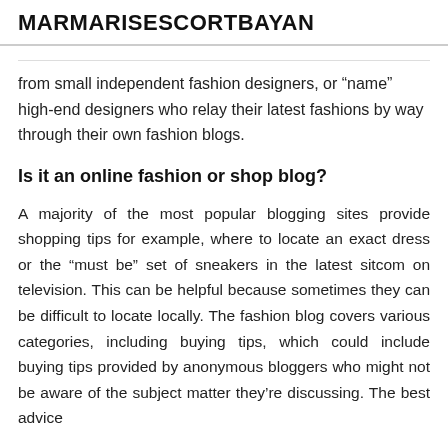MARMARISESCORTBAYAN
from small independent fashion designers, or “name” high-end designers who relay their latest fashions by way through their own fashion blogs.
Is it an online fashion or shop blog?
A majority of the most popular blogging sites provide shopping tips for example, where to locate an exact dress or the “must be” set of sneakers in the latest sitcom on television. This can be helpful because sometimes they can be difficult to locate locally. The fashion blog covers various categories, including buying tips, which could include buying tips provided by anonymous bloggers who might not be aware of the subject matter they’re discussing. The best advice